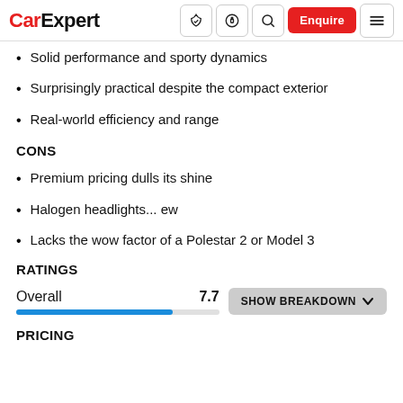CarExpert [nav icons] Enquire [menu]
Solid performance and sporty dynamics
Surprisingly practical despite the compact exterior
Real-world efficiency and range
CONS
Premium pricing dulls its shine
Halogen headlights... ew
Lacks the wow factor of a Polestar 2 or Model 3
RATINGS
Overall 7.7
PRICING